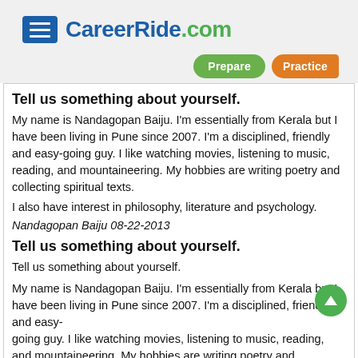CareerRide.com
Tell us something about yourself.
My name is Nandagopan Baiju. I'm essentially from Kerala but I have been living in Pune since 2007. I'm a disciplined, friendly and easy-going guy. I like watching movies, listening to music, reading, and mountaineering. My hobbies are writing poetry and collecting spiritual texts.
I also have interest in philosophy, literature and psychology.
Nandagopan Baiju 08-22-2013
Tell us something about yourself.
Tell us something about yourself.
My name is Nandagopan Baiju. I'm essentially from Kerala but I have been living in Pune since 2007. I'm a disciplined, friendly and easy-going guy. I like watching movies, listening to music, reading, and mountaineering. My hobbies are writing poetry and collecting spiritual texts.
I also have interest in philosophy, literature and psychology.